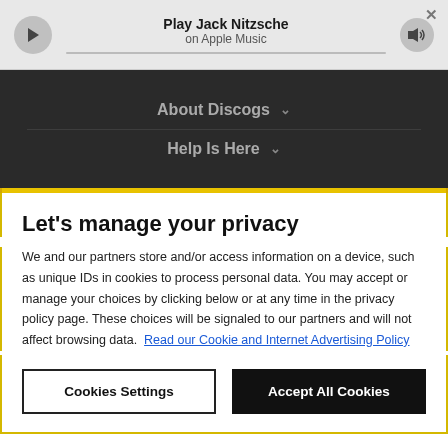Play Jack Nitzsche on Apple Music
About Discogs
Help Is Here
Let's manage your privacy
We and our partners store and/or access information on a device, such as unique IDs in cookies to process personal data. You may accept or manage your choices by clicking below or at any time in the privacy policy page. These choices will be signaled to our partners and will not affect browsing data. Read our Cookie and Internet Advertising Policy
Cookies Settings
Accept All Cookies